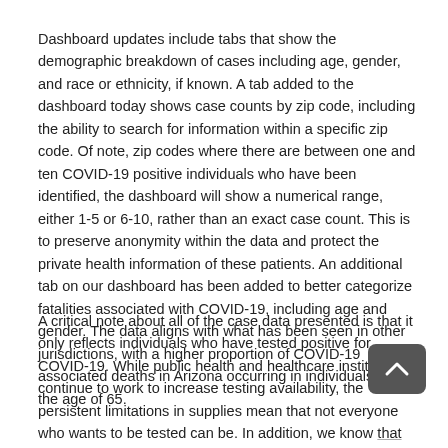Dashboard updates include tabs that show the demographic breakdown of cases including age, gender, and race or ethnicity, if known. A tab added to the dashboard today shows case counts by zip code, including the ability to search for information within a specific zip code. Of note, zip codes where there are between one and ten COVID-19 positive individuals who have been identified, the dashboard will show a numerical range, either 1-5 or 6-10, rather than an exact case count. This is to preserve anonymity within the data and protect the private health information of these patients. An additional tab on our dashboard has been added to better categorize fatalities associated with COVID-19, including age and gender. The data aligns with what has been seen in other jurisdictions, with a higher proportion of COVID-19 associated deaths in Arizona occurring in individuals over the age of 65.
A critical note about all of the case data presented is that it only reflects individuals who have tested positive for COVID-19. While public health and healthcare institutions continue to work to increase testing availability, the persistent limitations in supplies mean that not everyone who wants to be tested can be. In addition, we know that people can be infected and spread disease without showing symptoms.